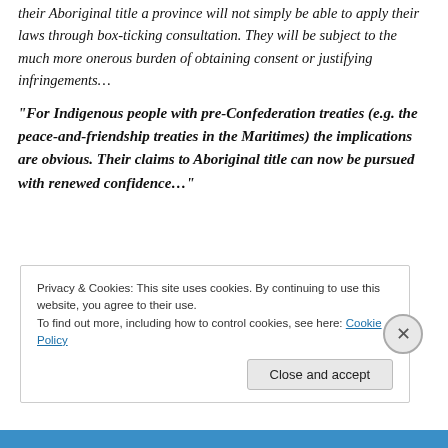When Indigenous people succeed in confirming their Aboriginal title a province will not simply be able to apply their laws through box-ticking consultation. They will be subject to the much more onerous burden of obtaining consent or justifying infringements…
“For Indigenous people with pre-Confederation treaties (e.g. the peace-and-friendship treaties in the Maritimes) the implications are obvious. Their claims to Aboriginal title can now be pursued with renewed confidence…”
Privacy & Cookies: This site uses cookies. By continuing to use this website, you agree to their use.
To find out more, including how to control cookies, see here: Cookie Policy